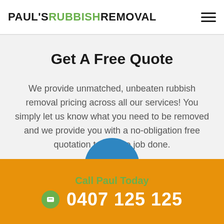PAUL'S RUBBISH REMOVAL
Get A Free Quote
We provide unmatched, unbeaten rubbish removal pricing across all our services! You simply let us know what you need to be removed and we provide you with a no-obligation free quotation to get the job done.
Call Paul Today  0407 125 125